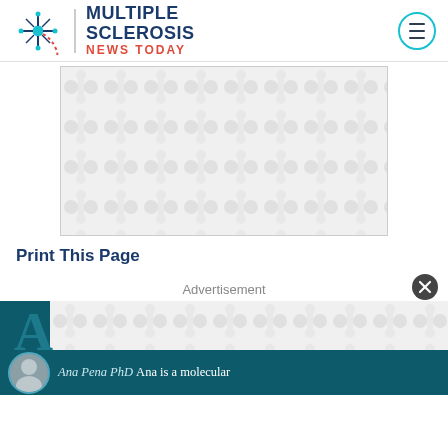Multiple Sclerosis News Today
[Figure (other): Advertisement placeholder with repeating molecule/dumbbell pattern on light gray background]
Print This Page
Advertisement
[Figure (other): Bottom advertisement banner for Multiple Sclerosis News Today featuring Ana Pena PhD - 'Ana is a molecular']